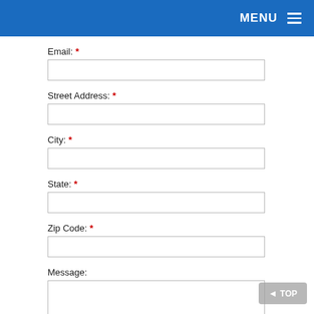MENU
Email: *
Street Address: *
City: *
State: *
Zip Code: *
Message: